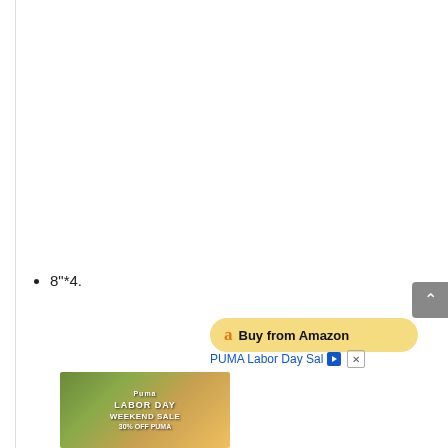8"*4.
[Figure (photo): PUMA Labor Day Weekend Sale advertisement image showing people wearing PUMA gear with text 'LABOR DAY WEEKEND SALE 30% OFF PUMA']
Ad